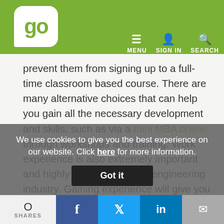go | MENU SIGN IN SEARCH
prevent them from signing up to a full-time classroom based course. There are many alternative choices that can help you gain all the necessary development and skills, such as via a mini MBA online through workshops and training. Work experience is also extremely important and highly valued within the engineering industry. Gaining experience will give you the opportunity to enhance your graduate CV, build valuable connections with people in the industry, and stand out from the competition when applying for the best graduate jobs in engineering.
We use cookies to give you the best experience on our website. Click here for more information.
0 SHARES | Facebook | Twitter | LinkedIn | Email